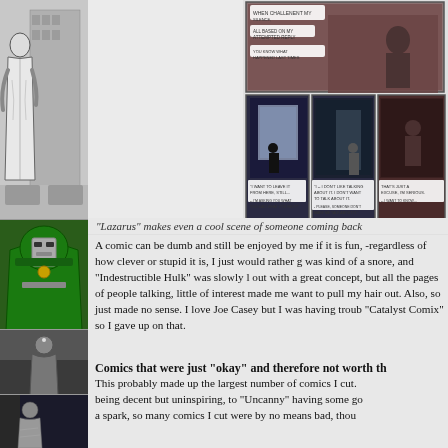[Figure (illustration): Left strip of comic book cover art showing black and white sketched figure of a person in long coat (top), Doctor Doom in green cloak (middle), dark figure illustration (lower middle), and another dark figure at bottom]
[Figure (illustration): Comic panels from 'Lazarus' showing a dark scene at top and three smaller panels below with dialogue between characters in dark atmospheric settings]
"Lazarus" makes even a cool scene of someone coming back
A comic can be dumb and still be enjoyed by me if it is fun, -regardless of how clever or stupid it is, I just would rather g was kind of a snore, and "Indestructible Hulk" was slowly l out with a great concept, but all the pages of people talking, little of interest made me want to pull my hair out. Also, so just made no sense. I love Joe Casey but I was having troub "Catalyst Comix" so I gave up on that.
Comics that were just "okay" and therefore not worth th
This probably made up the largest number of comics I cut. being decent but uninspiring, to "Uncanny" having some go a spark, so many comics I cut were by no means bad, thou